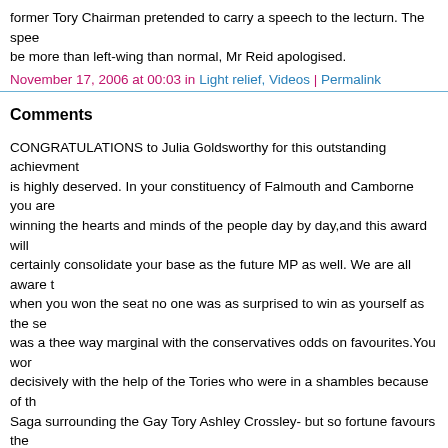former Tory Chairman pretended to carry a speech to the lecturn. The spee... be more than left-wing than normal, Mr Reid apologised.
November 17, 2006 at 00:03 in Light relief, Videos | Permalink
Comments
CONGRATULATIONS to Julia Goldsworthy for this outstanding achievment... is highly deserved. In your constituency of Falmouth and Camborne you are winning the hearts and minds of the people day by day,and this award will certainly consolidate your base as the future MP as well. We are all aware t... when you won the seat no one was as surprised to win as yourself as the se... was a thee way marginal with the conservatives odds on favourites.You wor... decisively with the help of the Tories who were in a shambles because of th... Saga surrounding the Gay Tory Ashley Crossley- but so fortune favours the... deserved and the electorate there are quids in with you now. The Tories continue their downward spiral in Truro,Falmouth,Camborne and... Redruth and I think you will have an even brighter future with more awards t... come. We think that you will now catapult the Liberal Democrats in Cornwall to win... parliamentary seats. Congtatulations again.